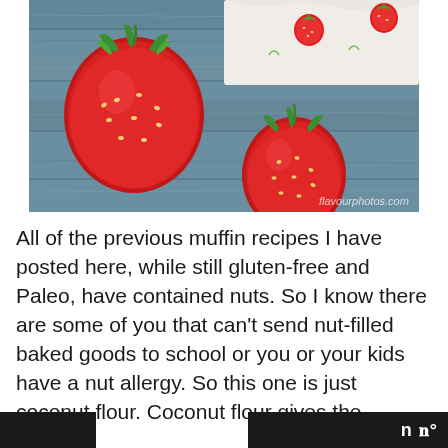[Figure (photo): Close-up photo of fresh red strawberries on a rustic blue-painted wooden surface, with a strawberry-patterned cloth napkin in the background.]
All of the previous muffin recipes I have posted here, while still gluten-free and Paleo, have contained nuts. So I know there are some of you that can't send nut-filled baked goods to school or you or your kids have a nut allergy. So this one is just coconut flour. Coconut flour gives the